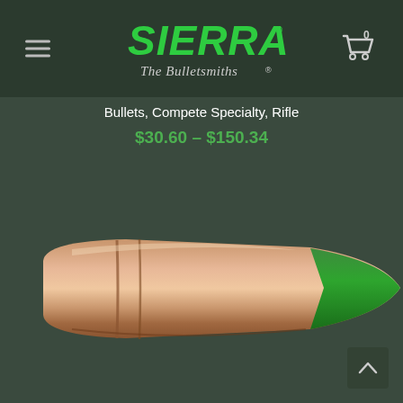Sierra Bullets - The Bulletsmiths
Bullets, Compete Specialty, Rifle
$30.60 – $150.34
[Figure (photo): Close-up photo of a Sierra rifle bullet with copper/bronze body and green polymer tip, shown horizontally against dark green background]